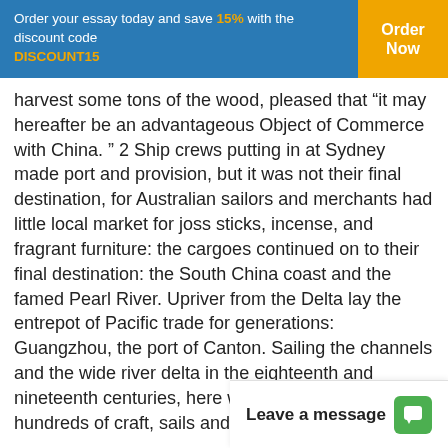Order your essay today and save 15% with the discount code DISCOUNT15  Order Now
harvest some tons of the wood, pleased that “it may hereafter be an advantageous Object of Commerce with China. ” 2 Ship crews putting in at Sydney made port and provision, but it was not their final destination, for Australian sailors and merchants had little local market for joss sticks, incense, and fragrant furniture: the cargoes continued on to their final destination: the South China coast and the famed Pearl River. Upriver from the Delta lay the entrepot of Pacific trade for generations: Guangzhou, the port of Canton. Sailing the channels and the wide river delta in the eighteenth and nineteenth centuries, here were waters plowed by hundreds of craft, sails and rigging bi